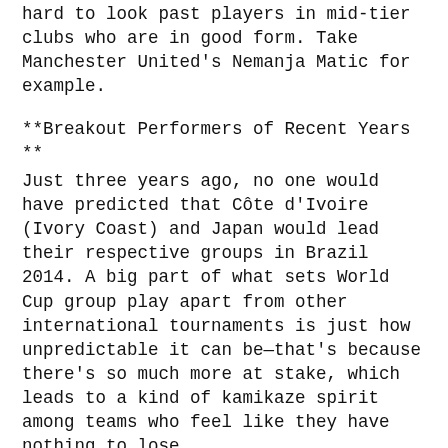hard to look past players in mid-tier clubs who are in good form. Take Manchester United's Nemanja Matic for example.
**Breakout Performers of Recent Years **
Just three years ago, no one would have predicted that Côte d'Ivoire (Ivory Coast) and Japan would lead their respective groups in Brazil 2014. A big part of what sets World Cup group play apart from other international tournaments is just how unpredictable it can be—that's because there's so much more at stake, which leads to a kind of kamikaze spirit among teams who feel like they have nothing to lose.
**Rising Stars From Emerging Nations **
Amongst so many international football stars, there are a few rising talents from emerging nations that are worth keeping an eye on. Some you may already know